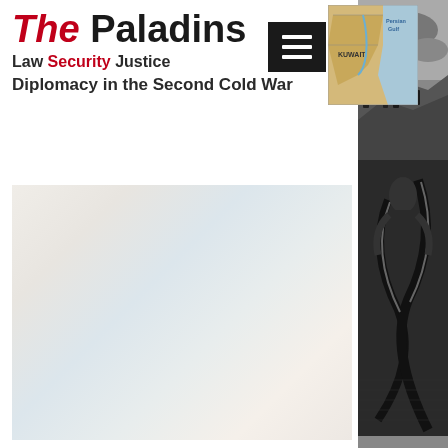The Paladins
Law Security Justice
Diplomacy in the Second Cold War
[Figure (map): Small map thumbnail showing Kuwait and the Persian Gulf region]
[Figure (illustration): Blurred or misty main content image placeholder with light blue-grey tones]
[Figure (illustration): Black and white historical engraving strip on the right side showing soldiers or warriors in battle]